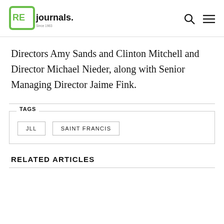REjournals
Directors Amy Sands and Clinton Mitchell and Director Michael Nieder, along with Senior Managing Director Jaime Fink.
TAGS
JLL   SAINT FRANCIS
RELATED ARTICLES